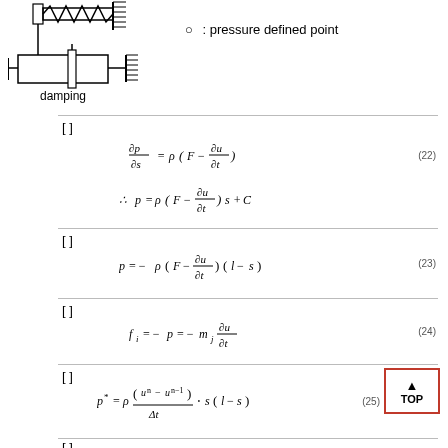[Figure (engineering-diagram): Damping element diagram showing spring and dashpot (piston-cylinder) in series with a fixed wall, labeled 'damping' below]
○ : pressure defined point
[ ]
[ ]
[ ]
[ ]
[ ]